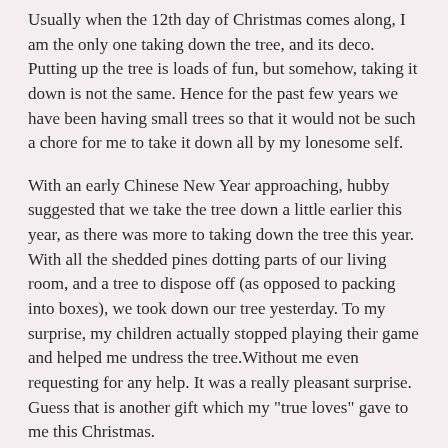Usually when the 12th day of Christmas comes along, I am the only one taking down the tree, and its deco. Putting up the tree is loads of fun, but somehow, taking it down is not the same. Hence for the past few years we have been having small trees so that it would not be such a chore for me to take it down all by my lonesome self.
With an early Chinese New Year approaching, hubby suggested that we take the tree down a little earlier this year, as there was more to taking down the tree this year. With all the shedded pines dotting parts of our living room, and a tree to dispose off (as opposed to packing into boxes), we took down our tree yesterday. To my surprise, my children actually stopped playing their game and helped me undress the tree.Without me even requesting for any help. It was a really pleasant surprise. Guess that is another gift which my "true loves" gave to me this Christmas.
With a bleak economy facing us this year, and a long road full of stress ahead of me, I am learning to count my little blessings along the way. We may not realise it, and tend to